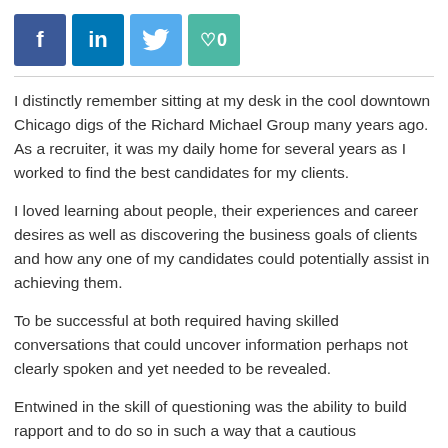[Figure (other): Social share buttons: Facebook (f), LinkedIn (in), Twitter (bird icon), Heart/like (heart icon with 0)]
I distinctly remember sitting at my desk in the cool downtown Chicago digs of the Richard Michael Group many years ago. As a recruiter, it was my daily home for several years as I worked to find the best candidates for my clients.
I loved learning about people, their experiences and career desires as well as discovering the business goals of clients and how any one of my candidates could potentially assist in achieving them.
To be successful at both required having skilled conversations that could uncover information perhaps not clearly spoken and yet needed to be revealed.
Entwined in the skill of questioning was the ability to build rapport and to do so in such a way that a cautious vulnerability would unfold.
Recognizing that questioning and rapport building...